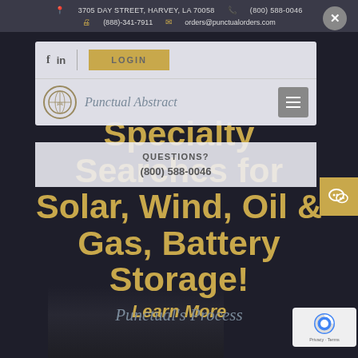3705 DAY STREET, HARVEY, LA 70058   (800) 588-0046
(888)-341-7911   orders@punctualorders.com
[Figure (screenshot): Punctual Abstract website navigation with logo and hamburger menu]
Specialty Searches for Solar, Wind, Oil & Gas, Battery Storage!
QUESTIONS?
(800) 588-0046
Punctual's Process
Learn More